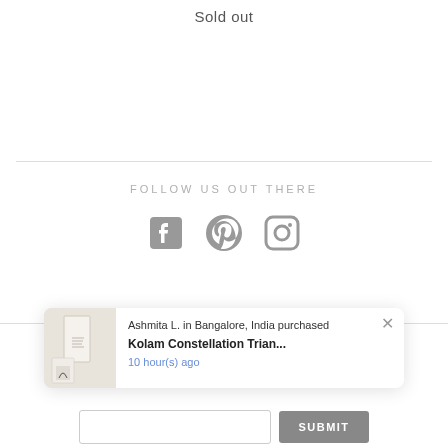Sold out
FOLLOW US OUT THERE
[Figure (illustration): Social media icons: Facebook, Pinterest, Instagram in gray]
[Figure (screenshot): Notification popup: Ashmita L. in Bangalore, India purchased Kolam Constellation Trian... 10 hour(s) ago]
SUBMIT